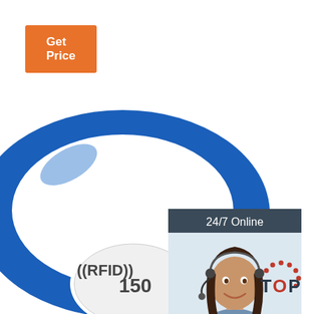[Figure (illustration): Orange 'Get Price' button in top left corner]
[Figure (photo): Blue RFID silicone wristband with white oval label reading '((RFID)) 150', photographed on white background]
[Figure (infographic): Dark blue chat widget panel on right side showing '24/7 Online' header, photo of female customer service representative with headset, 'Click here for free chat!' text, and orange QUOTATION button]
[Figure (logo): TOP logo in bottom right with red dotted arc above and bold text 'TOP']